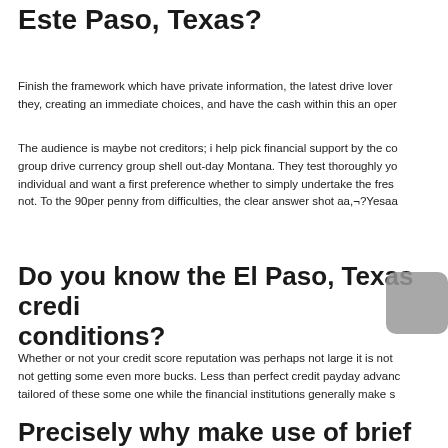Este Paso, Texas?
Finish the framework which have private information, the latest drive lover they, creating an immediate choices, and have the cash within this an oper
The audience is maybe not creditors; i help pick financial support by the co group drive currency group shell out-day Montana. They test thoroughly yo individual and want a first preference whether to simply undertake the fres not. To the 90per penny from difficulties, the clear answer shot aa,¬?Yesaa
Do you know the El Paso, Texas credi conditions?
Whether or not your credit score reputation was perhaps not large it is not not getting some even more bucks. Less than perfect credit payday advanc tailored of these some one while the financial institutions generally make s
Precisely why make use of brief mone investment provider?